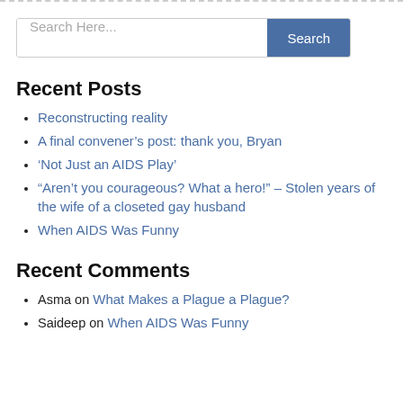Search Here...
Recent Posts
Reconstructing reality
A final convener's post: thank you, Bryan
'Not Just an AIDS Play'
“Aren’t you courageous? What a hero!” – Stolen years of the wife of a closeted gay husband
When AIDS Was Funny
Recent Comments
Asma on What Makes a Plague a Plague?
Saideep on When AIDS Was Funny